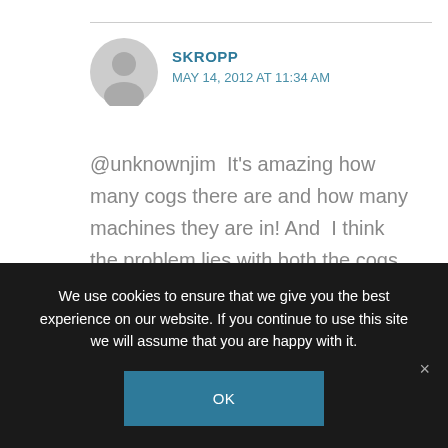SKROPP
MAY 14, 2012 AT 11:34 AM
@unknownjim  It's amazing how many cogs there are and how many machines they are in! And  I think the problem lies with both the cogs AND the machines depending on individual cases...
Reply
We use cookies to ensure that we give you the best experience on our website. If you continue to use this site we will assume that you are happy with it.
OK
×